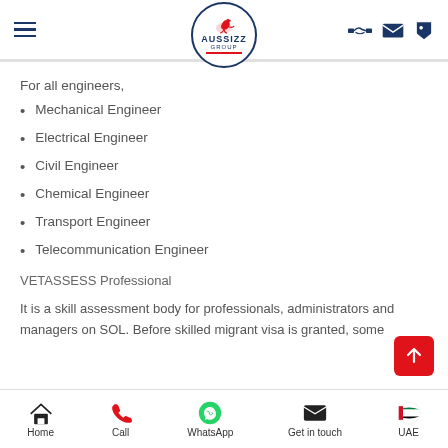Aussizz Group navigation header
For all engineers,
Mechanical Engineer
Electrical Engineer
Civil Engineer
Chemical Engineer
Transport Engineer
Telecommunication Engineer
VETASSESS Professional
It is a skill assessment body for professionals, administrators and managers on SOL. Before skilled migrant visa is granted, some
Home | Call | WhatsApp | Get in touch | UAE